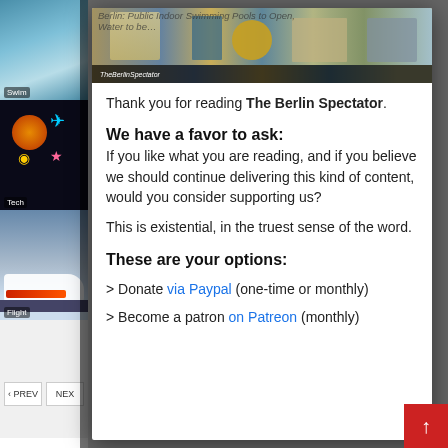[Figure (screenshot): Left sidebar with three article thumbnail images and navigation prev/next buttons]
[Figure (photo): Berlin Spectator header banner image showing Berlin landmarks]
Thank you for reading The Berlin Spectator.
We have a favor to ask: If you like what you are reading, and if you believe we should continue delivering this kind of content, would you consider supporting us?
This is existential, in the truest sense of the word.
These are your options:
> Donate via Paypal (one-time or monthly)
> Become a patron on Patreon (monthly)